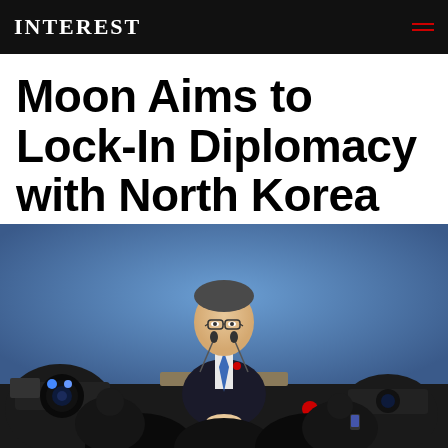INTEREST
Moon Aims to Lock-In Diplomacy with North Korea
[Figure (photo): A man in a dark suit with a blue tie, wearing glasses, speaks at a podium with microphones in front of a blue background. In the foreground, press cameras and journalists' silhouettes are visible.]